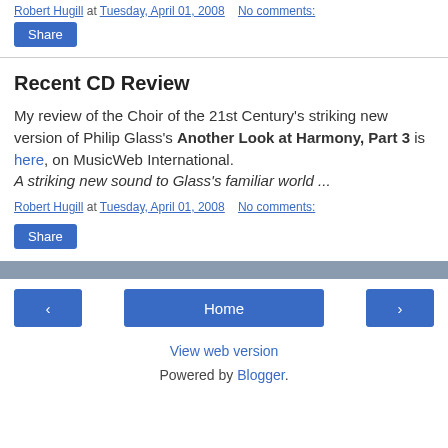Robert Hugill at Tuesday, April 01, 2008   No comments:
Share
Recent CD Review
My review of the Choir of the 21st Century's striking new version of Philip Glass's Another Look at Harmony, Part 3 is here, on MusicWeb International.
A striking new sound to Glass's familiar world ...
Robert Hugill at Tuesday, April 01, 2008   No comments:
Share
‹  Home  ›
View web version
Powered by Blogger.